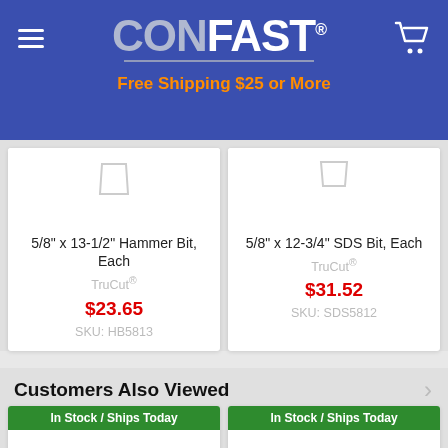CONFAST® — Free Shipping $25 or More
5/8" x 13-1/2" Hammer Bit, Each
TruCut®
$23.65
SKU: HB5813
5/8" x 12-3/4" SDS Bit, Each
TruCut®
$31.52
SKU: SDS5812
Customers Also Viewed
In Stock / Ships Today
In Stock / Ships Today